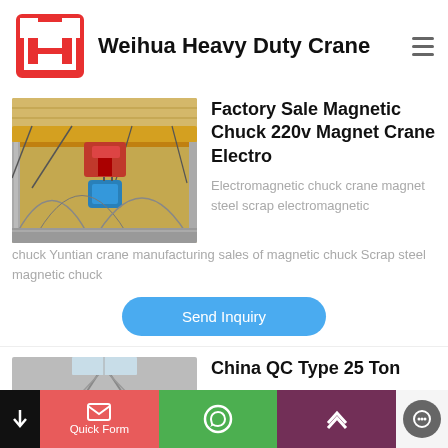Weihua Heavy Duty Crane
Factory Sale Magnetic Chuck 220v Magnet Crane Electro
Electromagnetic chuck crane magnet steel scrap electromagnetic chuck Yuntian crane manufacturing sales of magnetic chuck Scrap steel magnetic chuck
Send Inquiry
China QC Type 25 Ton
Quick Form